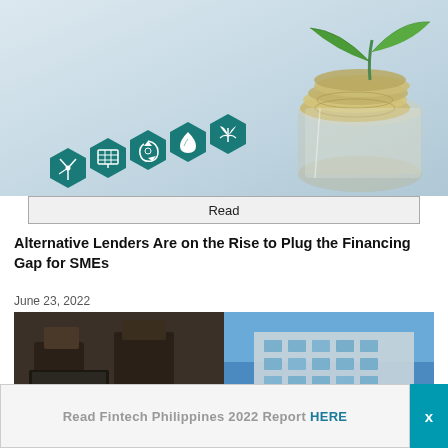[Figure (photo): Green finance concept image with teal hexagonal sustainability icons (wind turbine, solar panel, recycling, water drop, leaf/eco) arranged in ascending staircase pattern, with a glass jar of coins and a plant sprouting from it on the right, against a light blue-grey background]
Read
Alternative Lenders Are on the Rise to Plug the Financing Gap for SMEs
June 23, 2022
[Figure (photo): Split image: left side shows a person in business attire using a laptop on a wooden surface; right side shows a modern glass building facade against a blue sky]
Read Fintech Philippines 2022 Report HERE